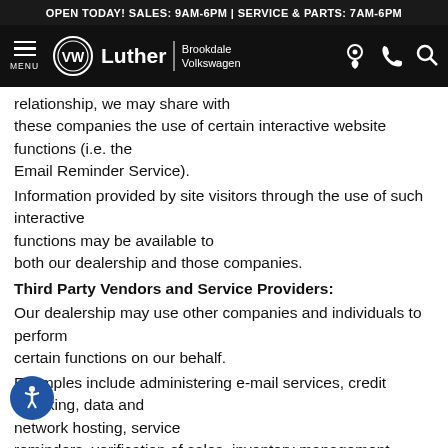OPEN TODAY! SALES: 9AM-6PM | SERVICE & PARTS: 7AM-6PM
[Figure (screenshot): Navigation bar with hamburger menu, VW logo, Luther Brookdale Volkswagen branding, and icons for location, phone, search]
relationship, we may share with these companies the use of certain interactive website functions (i.e. the Email Reminder Service).
Information provided by site visitors through the use of such interactive functions may be available to both our dealership and those companies.
Third Party Vendors and Service Providers:
Our dealership may use other companies and individuals to perform certain functions on our behalf.
Examples include administering e-mail services, credit checking, data and network hosting, service reminders, verification of sales, inventory management, running special promotions and performing administrative or marketing functions. These third parties will only have access to the personal information needed to perform these functions and may not use or store the information for any other